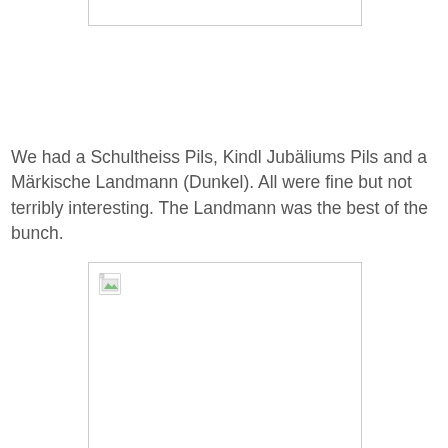[Figure (photo): Image placeholder (broken/missing image) at top of page]
We had a Schultheiss Pils, Kindl Jubäliums Pils and a Märkische Landmann (Dunkel). All were fine but not terribly interesting. The Landmann was the best of the bunch.
[Figure (photo): Image placeholder (broken/missing image) at bottom of page]